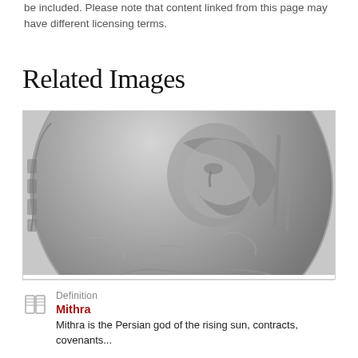be included. Please note that content linked from this page may have different licensing terms.
Related Images
[Figure (photo): Close-up photograph of an ancient silver coin showing a bearded profile figure (likely Mithra), with worn relief details typical of Persian/ancient coinage.]
Definition
Mithra
Mithra is the Persian god of the rising sun, contracts, covenants...